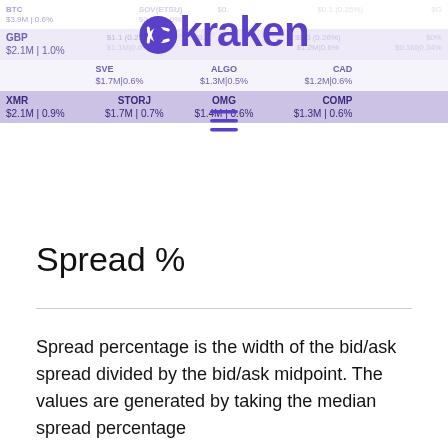[Figure (screenshot): Kraken cryptocurrency exchange header with logo, hamburger menu, and ticker grid showing trading pairs with volume and percentage data including GBP $2.1M|1.0%, XMR $2.1M|0.9%, STORJ $1.7M|0.7%, OMG $1.4M|0.6%, COMP $1.3M|0.6%]
Spread %
Spread percentage is the width of the bid/ask spread divided by the bid/ask midpoint. The values are generated by taking the median spread percentage